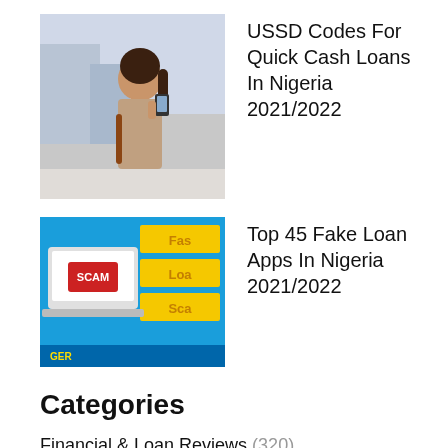[Figure (photo): Woman looking at phone outdoors, thumbnail for USSD Codes article]
USSD Codes For Quick Cash Loans In Nigeria 2021/2022
[Figure (screenshot): Laptop with SCAM warning on screen, blue background with Fake Loan Scam text, thumbnail for Top 45 Fake Loan Apps article]
Top 45 Fake Loan Apps In Nigeria 2021/2022
Categories
Financial & Loan Reviews (320)
Foreign Offers (36)
Loan Offers (72)
Money Reviews (98)